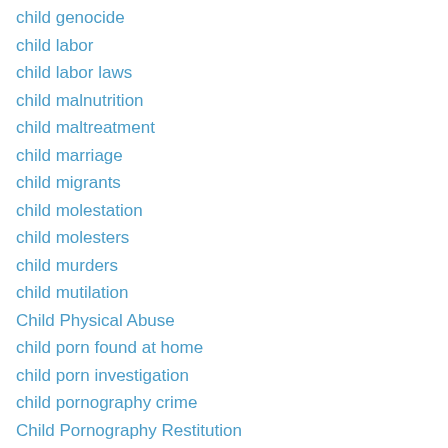child genocide
child labor
child labor laws
child malnutrition
child maltreatment
child marriage
child migrants
child molestation
child molesters
child murders
child mutilation
Child Physical Abuse
child porn found at home
child porn investigation
child pornography crime
Child Pornography Restitution
child pornography restitution case
Child Pornography Victim Restitution Improvement Act
Child Pornography Victims
child porn_graphy victim